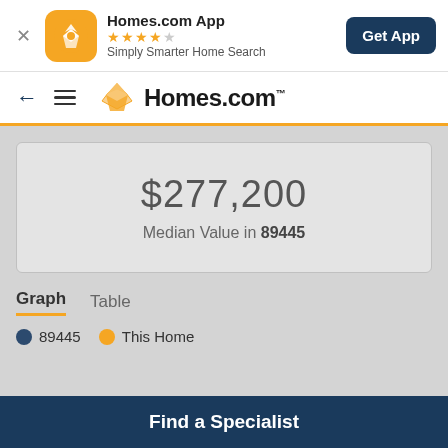[Figure (screenshot): Homes.com app banner with orange icon, star rating, tagline, and Get App button]
Homes.com App
★★★★☆
Simply Smarter Home Search
Get App
[Figure (logo): Homes.com navigation bar with back arrow, hamburger menu, and Homes.com logo]
Homes.com
$277,200
Median Value in 89445
Graph  Table
89445
This Home
Find a Specialist